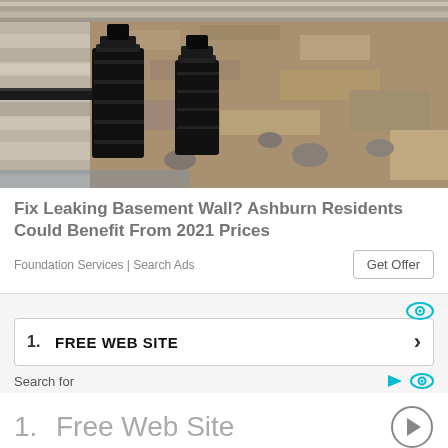[Figure (photo): Aerial or close-up view of a foundation wall excavation with black hydraulic jack/pier equipment installed against a concrete basement wall, surrounded by dirt and rocks.]
Fix Leaking Basement Wall? Ashburn Residents Could Benefit From 2021 Prices
Foundation Services | Search Ads
Get Offer
1. FREE WEB SITE
Search for
1.  Free Web Site